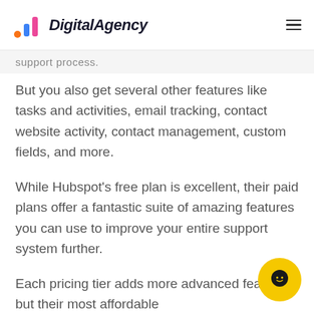DigitalAgency
support process.
But you also get several other features like tasks and activities, email tracking, contact website activity, contact management, custom fields, and more.
While Hubspot's free plan is excellent, their paid plans offer a fantastic suite of amazing features you can use to improve your entire support system further.
Each pricing tier adds more advanced features, but their most affordable